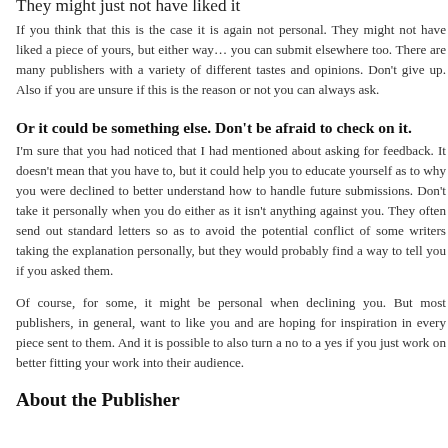They might just not have liked it
If you think that this is the case it is again not personal. They might not have liked a piece of yours, but either way… you can submit elsewhere too. There are many publishers with a variety of different tastes and opinions. Don't give up. Also if you are unsure if this is the reason or not you can always ask.
Or it could be something else. Don't be afraid to check on it.
I'm sure that you had noticed that I had mentioned about asking for feedback. It doesn't mean that you have to, but it could help you to educate yourself as to why you were declined to better understand how to handle future submissions. Don't take it personally when you do either as it isn't anything against you. They often send out standard letters so as to avoid the potential conflict of some writers taking the explanation personally, but they would probably find a way to tell you if you asked them.
Of course, for some, it might be personal when declining you. But most publishers, in general, want to like you and are hoping for inspiration in every piece sent to them. And it is possible to also turn a no to a yes if you just work on better fitting your work into their audience.
About the Publisher